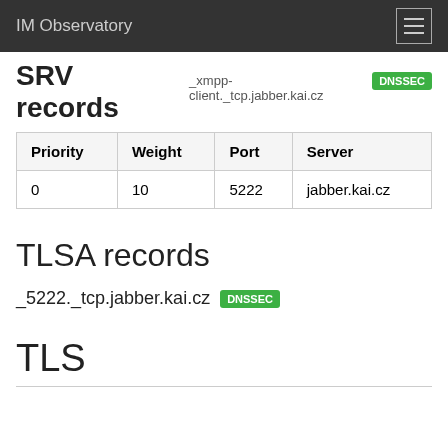IM Observatory
SRV records _xmpp-client._tcp.jabber.kai.cz DNSSEC
| Priority | Weight | Port | Server |
| --- | --- | --- | --- |
| 0 | 10 | 5222 | jabber.kai.cz |
TLSA records
_5222._tcp.jabber.kai.cz DNSSEC
TLS